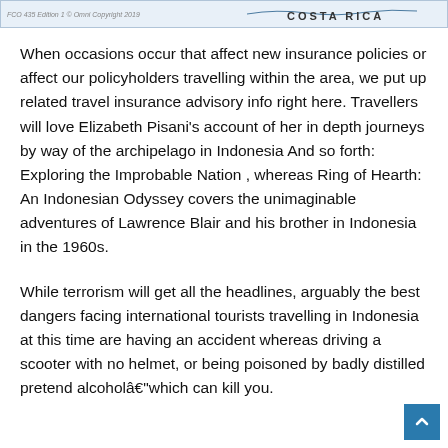[Figure (map): Partial map image showing Costa Rica label with copyright text 'FCO 435 Edition 1 © Omni Copyright 2019']
When occasions occur that affect new insurance policies or affect our policyholders travelling within the area, we put up related travel insurance advisory info right here. Travellers will love Elizabeth Pisani's account of her in depth journeys by way of the archipelago in Indonesia And so forth: Exploring the Improbable Nation , whereas Ring of Hearth: An Indonesian Odyssey covers the unimaginable adventures of Lawrence Blair and his brother in Indonesia in the 1960s.
While terrorism will get all the headlines, arguably the best dangers facing international tourists travelling in Indonesia at this time are having an accident whereas driving a scooter with no helmet, or being poisoned by badly distilled pretend alcoholâ€"which can kill you.